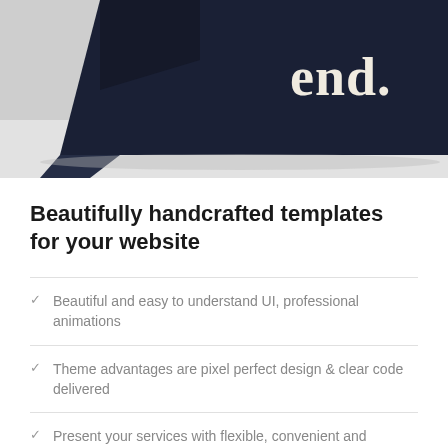[Figure (photo): Dark navy folded fabric/clothing item with cream serif text 'end.' on a light gray surface, photographed from above at an angle]
Beautifully handcrafted templates for your website
Beautiful and easy to understand UI, professional animations
Theme advantages are pixel perfect design & clear code delivered
Present your services with flexible, convenient and multipurpose